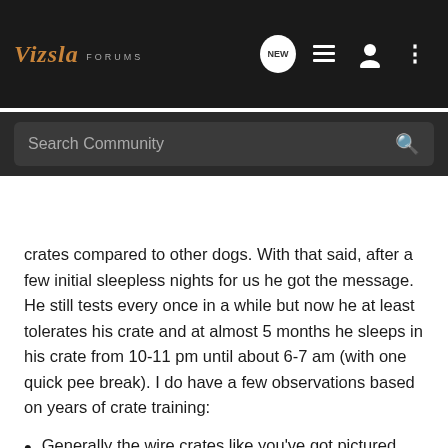Vizsla FORUMS
crates compared to other dogs. With that said, after a few initial sleepless nights for us he got the message. He still tests every once in a while but now he at least tolerates his crate and at almost 5 months he sleeps in his crate from 10-11 pm until about 6-7 am (with one quick pee break). I do have a few observations based on years of crate training:
Generally the wire crates like you've got pictured above are not recommended. The idea of a crate is to mimic a den, where they are secure and protected. It's meant to have one entrance and protected on the other 3 sides. A wire crate gives them the feeling of being out in the open and able to be attacked from all sides when asleep. For this reason most breeders and trainers recommend a hard plastic one. Since you have a wire one, you can try